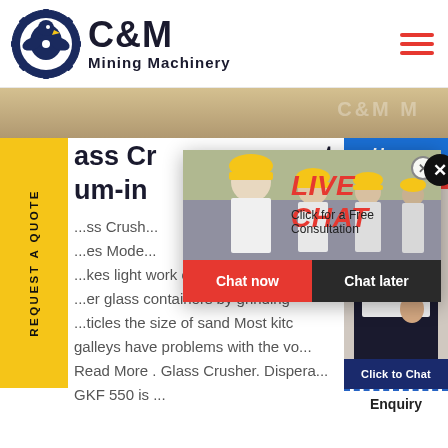[Figure (logo): C&M Mining Machinery logo: circular badge with eagle and gear, navy blue text C&M and Mining Machinery]
[Figure (photo): Banner photo of mining/industrial site, sandy/dusty background with C&M watermark text]
REQUEST A QUOTE (vertical sidebar tab, yellow background)
ass Cr... os-t-
um-in... Hours
...ss Crush... line
...es Mode...
...kes light work of handling empt...
...er glass containers by grinding
...ticles the size of sand Most kitc
galleys have problems with the vo...
Read More . Glass Crusher. Dispera...
GKF 550 is ...
[Figure (screenshot): Live Chat popup overlay showing workers in hard hats, LIVE CHAT heading in red italic, Click for a Free Consultation text, Chat now (red button) and Chat later (dark button)]
[Figure (photo): Right panel: Hours / Online banner in blue/red, female customer service agent with headset photo, Click to Chat button, Enquiry label]